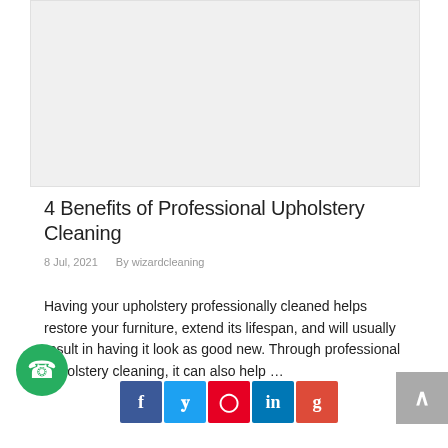[Figure (photo): Placeholder image area, light grey background, likely an upholstery or cleaning related photo]
4 Benefits of Professional Upholstery Cleaning
8 Jul, 2021   By wizardcleaning
Having your upholstery professionally cleaned helps restore your furniture, extend its lifespan, and will usually result in having it look as good new. Through professional upholstery cleaning, it can also help …